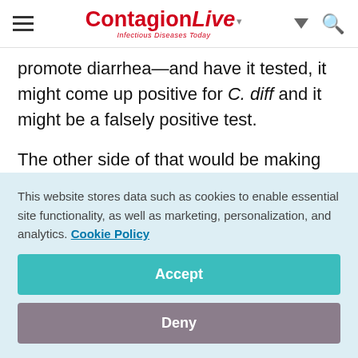ContagionLive — Infectious Diseases Today
promote diarrhea—and have it tested, it might come up positive for C. diff and it might be a falsely positive test.
The other side of that would be making sure that we do timely testing because a patient whose diagnosis is delayed is a patient where we don't have the opportunity to really give
This website stores data such as cookies to enable essential site functionality, as well as marketing, personalization, and analytics. Cookie Policy
Accept
Deny